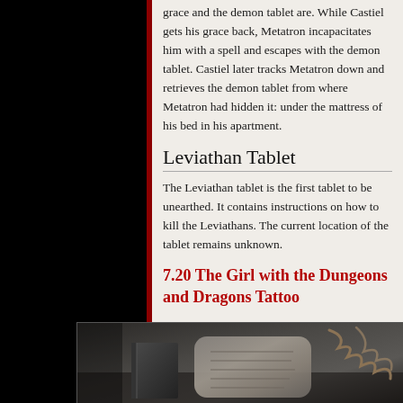grace and the demon tablet are. While Castiel gets his grace back, Metatron incapacitates him with a spell and escapes with the demon tablet. Castiel later tracks Metatron down and retrieves the demon tablet from where Metatron had hidden it: under the mattress of his bed in his apartment.
Leviathan Tablet
The Leviathan tablet is the first tablet to be unearthed. It contains instructions on how to kill the Leviathans. The current location of the tablet remains unknown.
7.20 The Girl with the Dungeons and Dragons Tattoo
[Figure (photo): A dark photograph showing a stone clay tablet with inscriptions and a dark book/journal, with chains visible in the background, on a dark surface.]